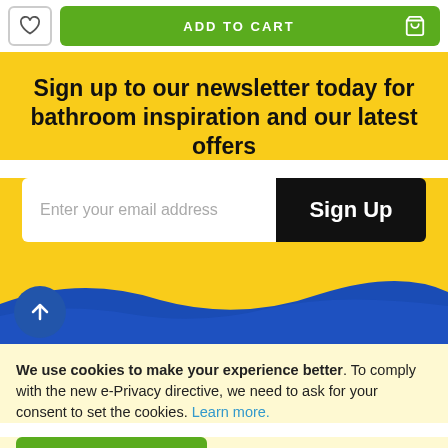[Figure (screenshot): Top navigation bar with heart/wishlist icon button on left, green ADD TO CART button in center with shopping bag icon on right]
Sign up to our newsletter today for bathroom inspiration and our latest offers
[Figure (screenshot): Email signup form with white input field 'Enter your email address' and black Sign Up button]
[Figure (illustration): Blue wave shape decorative element with dark blue background and circular scroll-to-top arrow button]
We use cookies to make your experience better. To comply with the new e-Privacy directive, we need to ask for your consent to set the cookies. Learn more.
[Figure (screenshot): Green ALLOW COOKIES button]